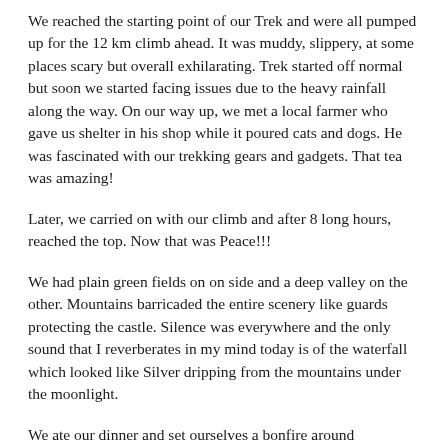We reached the starting point of our Trek and were all pumped up for the 12 km climb ahead. It was muddy, slippery, at some places scary but overall exhilarating. Trek started off normal but soon we started facing issues due to the heavy rainfall along the way. On our way up, we met a local farmer who gave us shelter in his shop while it poured cats and dogs. He was fascinated with our trekking gears and gadgets. That tea was amazing!
Later, we carried on with our climb and after 8 long hours, reached the top. Now that was Peace!!!
We had plain green fields on on side and a deep valley on the other. Mountains barricaded the entire scenery like guards protecting the castle. Silence was everywhere and the only sound that I reverberates in my mind today is of the waterfall which looked like Silver dripping from the mountains under the moonlight.
We ate our dinner and set ourselves a bonfire around